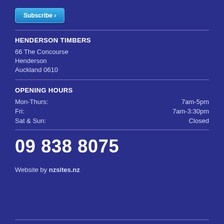Subscribe ›
HENDERSON TIMBERS
66 The Concourse
Henderson
Auckland 0610
OPENING HOURS
| Day | Hours |
| --- | --- |
| Mon-Thurs: | 7am-5pm |
| Fri: | 7am-3:30pm |
| Sat & Sun: | Closed |
09 838 8075
Website by nzsites.nz